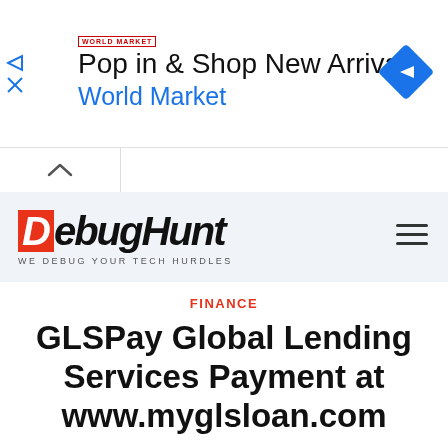[Figure (screenshot): Advertisement banner for World Market: 'Pop in & Shop New Arrivals / World Market' with World Market logo and blue diamond navigation icon on right. Play and close icons on left.]
[Figure (logo): DebugHunt logo with red D box and italic bold black text 'ebugHunt', tagline 'WE DEBUG YOUR TECH HURDLES', with hamburger menu icon on right]
FINANCE
GLSPay Global Lending Services Payment at www.myglsloan.com